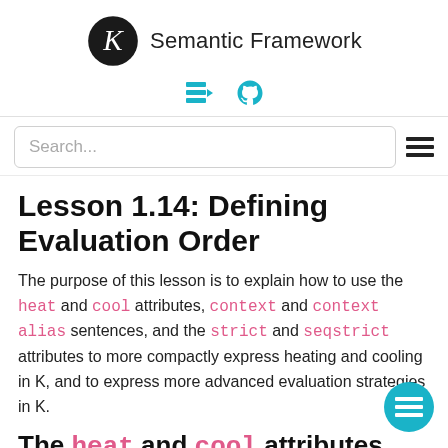Semantic Framework
Lesson 1.14: Defining Evaluation Order
The purpose of this lesson is to explain how to use the heat and cool attributes, context and context alias sentences, and the strict and seqstrict attributes to more compactly express heating and cooling in K, and to express more advanced evaluation strategies in K.
The heat and cool attributes